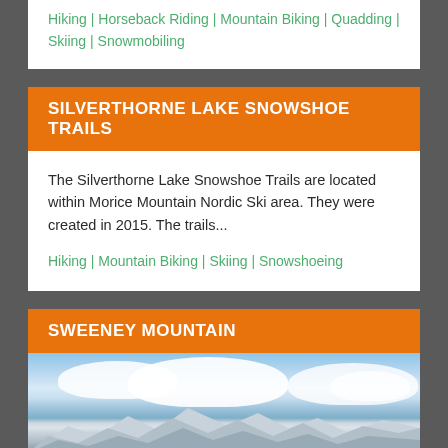Hiking | Horseback Riding | Mountain Biking | Quadding | Skiing | Snowmobiling
SILVERTHORNE LAKE SNOWSHOE TRAILS
The Silverthorne Lake Snowshoe Trails are located within Morice Mountain Nordic Ski area. They were created in 2015. The trails...
Hiking | Mountain Biking | Skiing | Snowshoeing
SWEENEY MOUNTAIN
[Figure (photo): Aerial mountain landscape with snowy peaks and clouds against a blue sky]